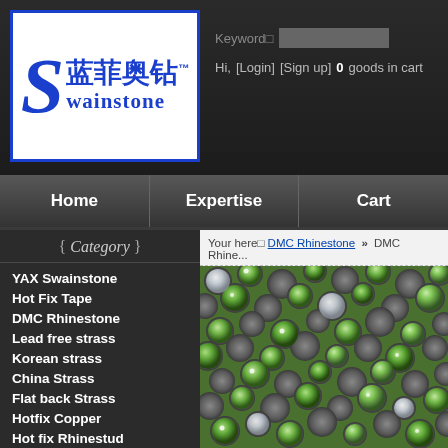[Figure (logo): Swainstone logo with blue border, large S, Chinese characters 蓝菲奥钻, and text swainstone]
Keyword□  [search box]  Hi, [Login] [Sign up]  0 goods in cart
Home  Expertise  Cart
{Category}
YAX Swainstone
Hot Fix Tape
DMC Rhinestone
Lead free strass
Korean strass
China Strass
Flat back Strass
Hotfix Copper
Hot fix Rhinestud
Hot fix Nailhead
Your here□ DMC Rhinestone » DMC Rhine...
[Figure (photo): Close-up photo of many green rhinestones with flat metallic backs, some clear/white rhinestones visible]